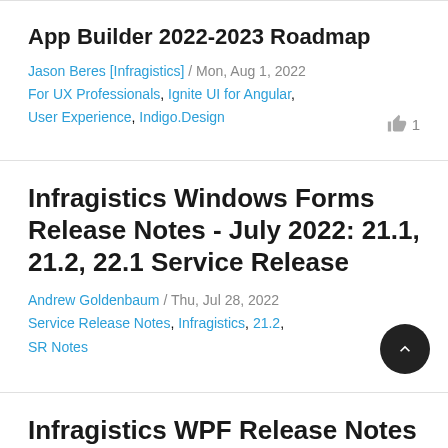App Builder 2022-2023 Roadmap
Jason Beres [Infragistics] / Mon, Aug 1, 2022
For UX Professionals, Ignite UI for Angular, User Experience, Indigo.Design
Infragistics Windows Forms Release Notes - July 2022: 21.1, 21.2, 22.1 Service Release
Andrew Goldenbaum / Thu, Jul 28, 2022
Service Release Notes, Infragistics, 21.2, SR Notes
Infragistics WPF Release Notes - July 2022: 21.1, 21.2, 22.1 Service Release